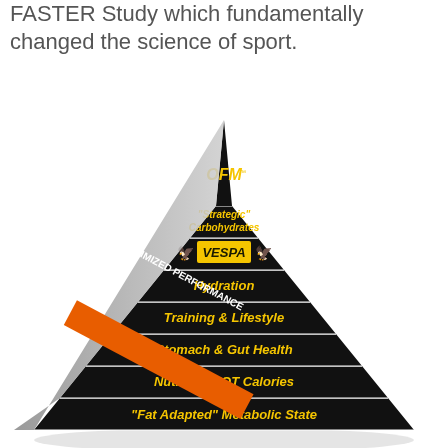FASTER Study which fundamentally changed the science of sport.
[Figure (infographic): OFM performance pyramid with 8 layers from base to top: 'Fat Adapted' Metabolic State, Nutrition NOT Calories, Stomach & Gut Health, Training & Lifestyle, Hydration, VESPA, 'Strategic' Carbohydrates, OFM. An orange diagonal banner on the left side reads 'OPTIMIZED PERFORMANCE'.]